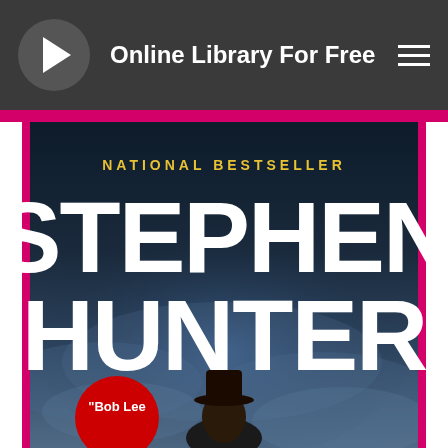Online Library For Free
[Figure (screenshot): Book cover for a Stephen Hunter novel, showing 'NATIONAL BESTSELLER' in gold letters at the top, 'STEPHEN HUNTER' in large white bold text, a dark blue cloudy background with a silhouette of a person, and a red circular badge in the lower left with text 'Bob Lee']